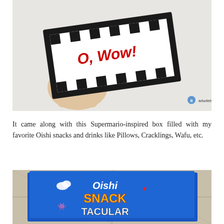[Figure (photo): A hand holding a pixel-art style card/box with black pixel border and the text 'O, Wow!' written in red on a white background. A watermark reading 'Badudets.com' appears in the bottom right of the photo.]
It came along with this Supermario-inspired box filled with my favorite Oishi snacks and drinks like Pillows, Cracklings, Wafu, etc.
[Figure (photo): A blue box/card on a tiled floor showing the 'Oishi SNACK-TACULAR' branding in colorful retro game-style lettering with yellow and red text.]